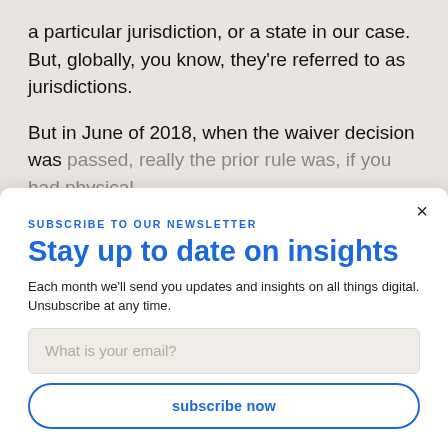a particular jurisdiction, or a state in our case. But, globally, you know, they're referred to as jurisdictions.
But in June of 2018, when the waiver decision was passed, really the prior rule was, if you had physical
SUBSCRIBE TO OUR NEWSLETTER
Stay up to date on insights
Each month we'll send you updates and insights on all things digital. Unsubscribe at any time.
What is your email?
subscribe now